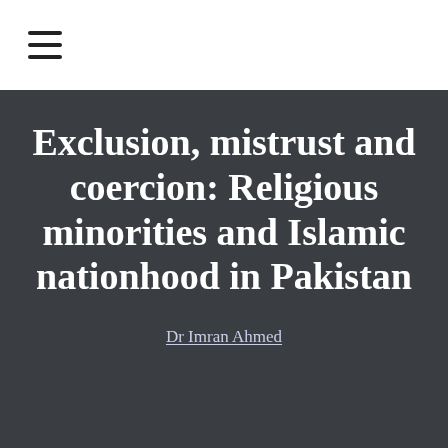[Figure (other): Hamburger menu icon (three horizontal lines) in the top-left white bar area]
Exclusion, mistrust and coercion: Religious minorities and Islamic nationhood in Pakistan
Dr Imran Ahmed